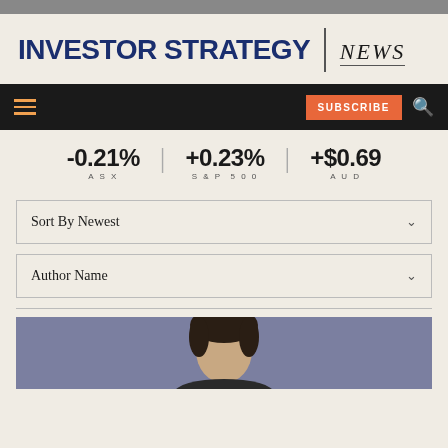INVESTOR STRATEGY | NEWS
-0.21% ASX | +0.23% S&P 500 | +$0.69 AUD
Sort By Newest
Author Name
[Figure (photo): Headshot of a person with dark hair against a blue-grey background]